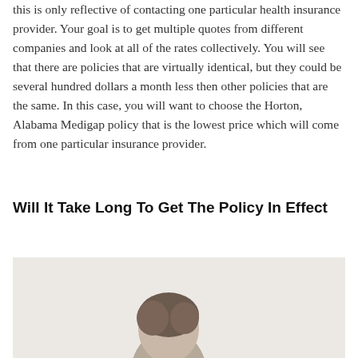this is only reflective of contacting one particular health insurance provider. Your goal is to get multiple quotes from different companies and look at all of the rates collectively. You will see that there are policies that are virtually identical, but they could be several hundred dollars a month less then other policies that are the same. In this case, you will want to choose the Horton, Alabama Medigap policy that is the lowest price which will come from one particular insurance provider.
Will It Take Long To Get The Policy In Effect
[Figure (photo): A person's head partially visible at the bottom of the image, with a light beige/grey background.]